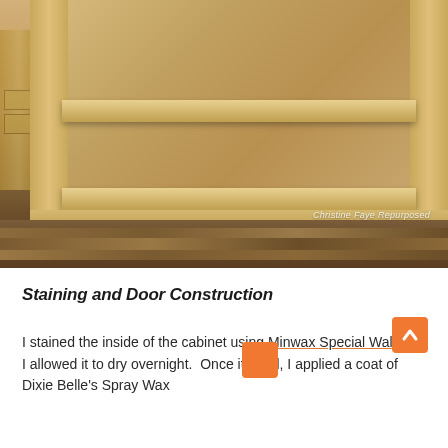[Figure (photo): Photo of a wooden bookcase/cabinet with two shelves, light natural wood finish, sitting on a dark hardwood floor. Text watermark in bottom-right reads 'Christine Faye Repurposed'.]
Staining and Door Construction
I stained the inside of the cabinet using Minwax Special Walnut.  I allowed it to dry overnight.  Once it dried, I applied a coat of Dixie Belle's Spray Wax